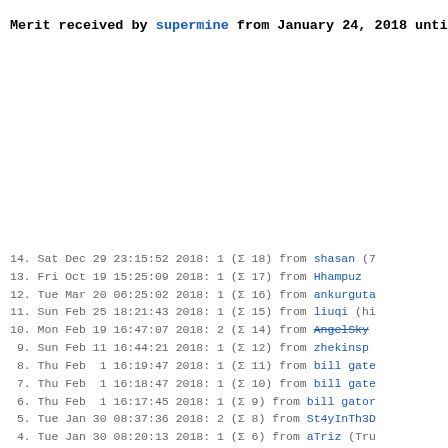Merit received by supermine from January 24, 2018 until A
14. Sat Dec 29 23:15:52 2018: 1 (Σ 18) from shasan (7
13. Fri Oct 19 15:25:09 2018: 1 (Σ 17) from Hhampuz
12. Tue Mar 20 06:25:02 2018: 1 (Σ 16) from ankurguta
11. Sun Feb 25 18:21:43 2018: 1 (Σ 15) from liuqi (hi
10. Mon Feb 19 16:47:07 2018: 2 (Σ 14) from AngelSky
9.  Sun Feb 11 16:44:21 2018: 1 (Σ 12) from zhekinsp
8.  Thu Feb  1 16:19:47 2018: 1 (Σ 11) from bill gate
7.  Thu Feb  1 16:18:47 2018: 1 (Σ 10) from bill gate
6.  Thu Feb  1 16:17:45 2018: 1 (Σ 9)  from bill gator
5.  Tue Jan 30 08:37:36 2018: 2 (Σ 8)  from St4yInTh3D
4.  Tue Jan 30 08:20:13 2018: 1 (Σ 6)  from aTriz (Tru
3.  Mon Jan 29 20:35:13 2018: 2 (Σ 5)  from Thanasis
2.  Mon Jan 29 17:34:36 2018: 2 (Σ 3)  from zhekinsp
1.  Thu Jan 25 01:39:40 2018: 1 (Σ 1)  from semobo (Tr